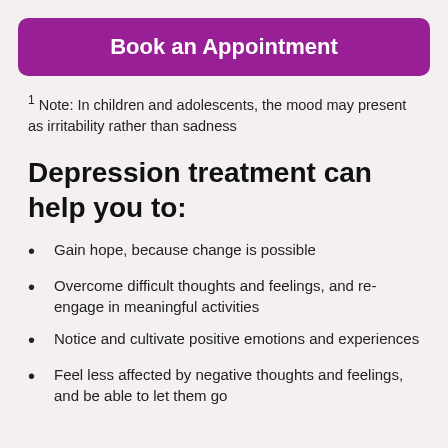Book an Appointment
1 Note: In children and adolescents, the mood may present as irritability rather than sadness
Depression treatment can help you to:
Gain hope, because change is possible
Overcome difficult thoughts and feelings, and re-engage in meaningful activities
Notice and cultivate positive emotions and experiences
Feel less affected by negative thoughts and feelings, and be able to let them go